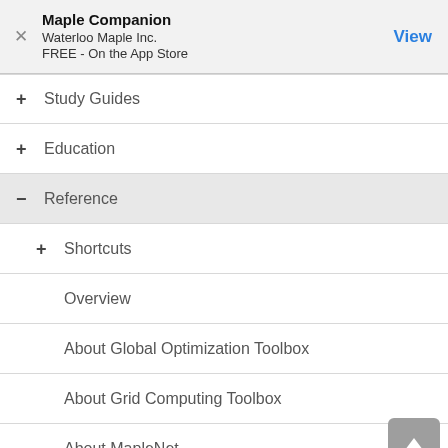Maple Companion
Waterloo Maple Inc.
FREE - On the App Store
Study Guides
Education
Reference
Shortcuts
Overview
About Global Optimization Toolbox
About Grid Computing Toolbox
About MapleNet
About MaplePlayer